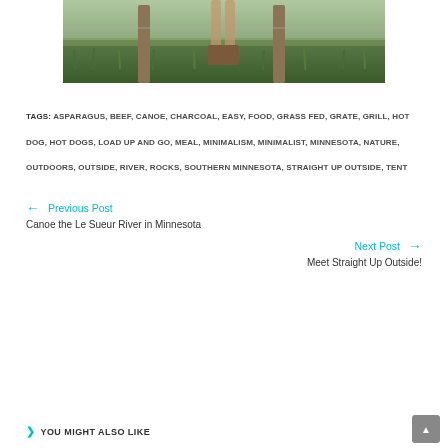[Figure (photo): Partial photo of a person standing near wooden fence posts in tall green grass/field, showing only legs and boots from approximately mid-thigh down.]
TAGS: ASPARAGUS, BEEF, CANOE, CHARCOAL, EASY, FOOD, GRASS FED, GRATE, GRILL, HOT DOG, HOT DOGS, LOAD UP AND GO, MEAL, MINIMALISM, MINIMALIST, MINNESOTA, NATURE, OUTDOORS, OUTSIDE, RIVER, ROCKS, SOUTHERN MINNESOTA, STRAIGHT UP OUTSIDE, TENT
← Previous Post
Canoe the Le Sueur River in Minnesota
Next Post →
Meet Straight Up Outside!
❯ YOU MIGHT ALSO LIKE